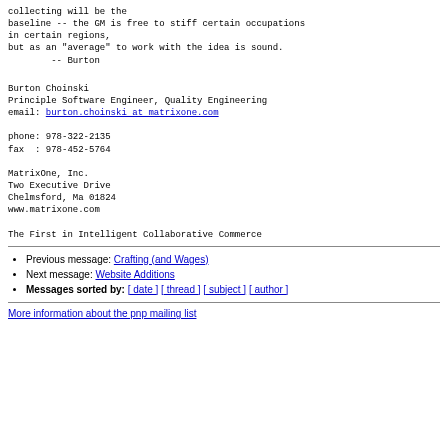collecting will be the
baseline -- the GM is free to stiff certain occupations
in certain regions,
but as an "average" to work with the idea is sound.
        -- Burton
Burton Choinski
Principle Software Engineer, Quality Engineering
email: burton.choinski at matrixone.com

phone: 978-322-2135
fax  : 978-452-5764

MatrixOne, Inc.
Two Executive Drive
Chelmsford, Ma 01824
www.matrixone.com

The First in Intelligent Collaborative Commerce
Previous message: Crafting (and Wages)
Next message: Website Additions
Messages sorted by: [ date ] [ thread ] [ subject ] [ author ]
More information about the pnp mailing list